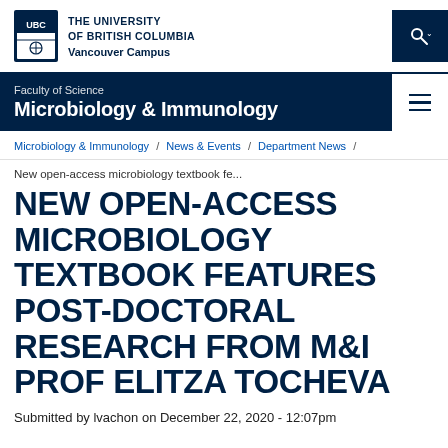THE UNIVERSITY OF BRITISH COLUMBIA — Vancouver Campus
Faculty of Science — Microbiology & Immunology
Microbiology & Immunology / News & Events / Department News /
New open-access microbiology textbook fe...
NEW OPEN-ACCESS MICROBIOLOGY TEXTBOOK FEATURES POST-DOCTORAL RESEARCH FROM M&I PROF ELITZA TOCHEVA
Submitted by lvachon on December 22, 2020 - 12:07pm